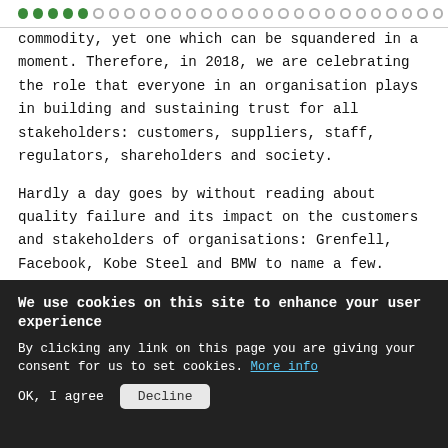[Figure (other): Progress dots navigation bar with 5 filled green dots and many grey/outline dots]
commodity, yet one which can be squandered in a moment. Therefore, in 2018, we are celebrating the role that everyone in an organisation plays in building and sustaining trust for all stakeholders: customers, suppliers, staff, regulators, shareholders and society.
Hardly a day goes by without reading about quality failure and its impact on the customers and stakeholders of organisations: Grenfell, Facebook, Kobe Steel and BMW to name a few. These stories beg two questions. Firstly, about organisational competence and secondly, about organisational integrity.
We use cookies on this site to enhance your user experience
By clicking any link on this page you are giving your consent for us to set cookies. More info
OK, I agree   Decline